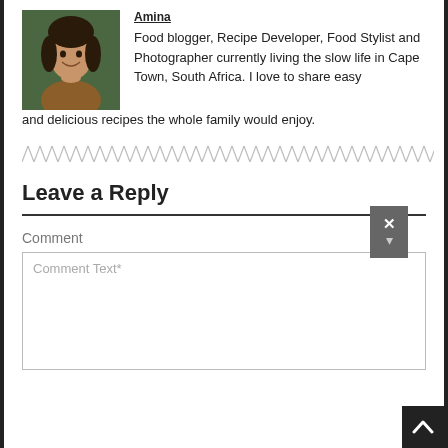[Figure (photo): Portrait photo of a woman smiling, wearing an orange/brown top, outdoors with green background.]
Amina
Food blogger, Recipe Developer, Food Stylist and Photographer currently living the slow life in Cape Town, South Africa. I love to share easy and delicious recipes the whole family would enjoy.
[Figure (other): Zigzag/hatched decorative divider line spanning the full width of the page.]
Leave a Reply
[Figure (other): Close/dismiss button (X icon with downward arrow chevron) in dark gray, positioned at the right end of the horizontal rule.]
Comment
Comment Text*